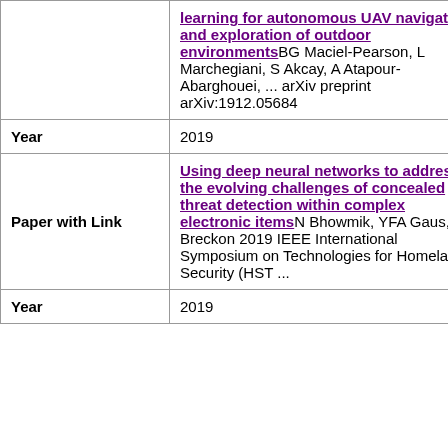|  | learning for autonomous UAV navigation and exploration of outdoor environmentsBG Maciel-Pearson, L Marchegiani, S Akcay, A Atapour-Abarghouei, ... arXiv preprint arXiv:1912.05684 |
| Year | 2019 |
| Paper with Link | Using deep neural networks to address the evolving challenges of concealed threat detection within complex electronic itemsN Bhowmik, YFA Gaus, TP Breckon 2019 IEEE International Symposium on Technologies for Homeland Security (HST ... |
| Year | 2019 |